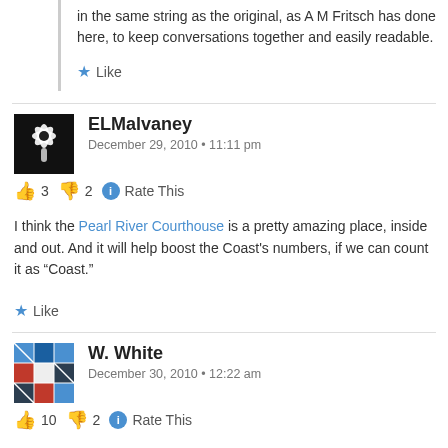in the same string as the original, as A M Fritsch has done here, to keep conversations together and easily readable.
Like
ELMalvaney
December 29, 2010 • 11:11 pm
👍 3 👎 2 ℹ Rate This
I think the Pearl River Courthouse is a pretty amazing place, inside and out. And it will help boost the Coast's numbers, if we can count it as "Coast."
Like
W. White
December 30, 2010 • 12:22 am
👍 10 👎 2 ℹ Rate This